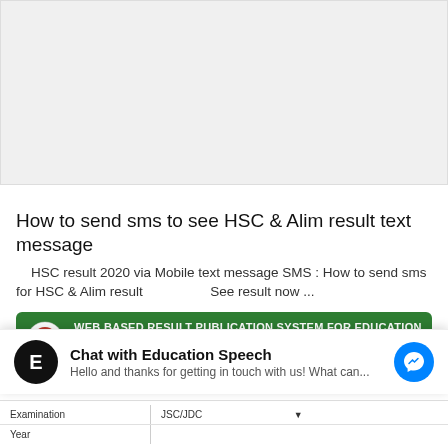[Figure (other): Gray placeholder area at top of page, likely an advertisement or image region]
How to send sms to see HSC & Alim result text message
HSC result 2020 via Mobile text message SMS : How to send sms for HSC & Alim result                    See result now ...
[Figure (screenshot): Green banner: WEB BASED RESULT PUBLICATION SYSTEM FOR EDUCATION BOARDS — JSC/JDC/SSC/DAKHIL/HSC/ALIM AND EQUIVALENT EXAMINATION with Bangladesh emblem logo]
Chat with Education Speech
Hello and thanks for getting in touch with us! What can...
| Examination | JSC/JDC |
| Year |  |